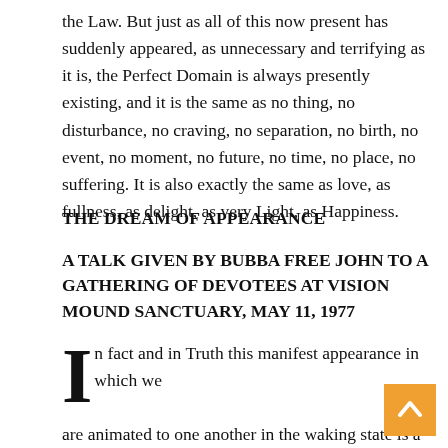the Law. But just as all of this now present has suddenly appeared, as unnecessary and terrifying as it is, the Perfect Domain is always presently existing, and it is the same as no thing, no disturbance, no craving, no separation, no birth, no event, no moment, no future, no time, no place, no suffering. It is also exactly the same as love, as fullness, as delight, as very Light, as Happiness.
THE DREAM OF APPEARANCE
A TALK GIVEN BY BUBBA FREE JOHN TO A GATHERING OF DEVOTEES AT VISION MOUND SANCTUARY, MAY 11, 1977
In fact and in Truth this manifest appearance in which we are animated to one another in the waking state is a hallucination that occurs in consciousness. All these trees,